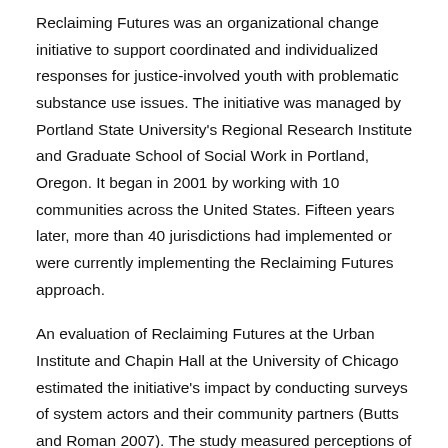Reclaiming Futures was an organizational change initiative to support coordinated and individualized responses for justice-involved youth with problematic substance use issues. The initiative was managed by Portland State University's Regional Research Institute and Graduate School of Social Work in Portland, Oregon. It began in 2001 by working with 10 communities across the United States. Fifteen years later, more than 40 jurisdictions had implemented or were currently implementing the Reclaiming Futures approach.
An evaluation of Reclaiming Futures at the Urban Institute and Chapin Hall at the University of Chicago estimated the initiative's impact by conducting surveys of system actors and their community partners (Butts and Roman 2007). The study measured perceptions of justice and substance abuse treatment systems on three major dimensions (administration, collaboration, and service quality). In 2015, the Research and Evaluation Center administered the same questionnaire to the larger group of communities implementing Reclaiming Futures.